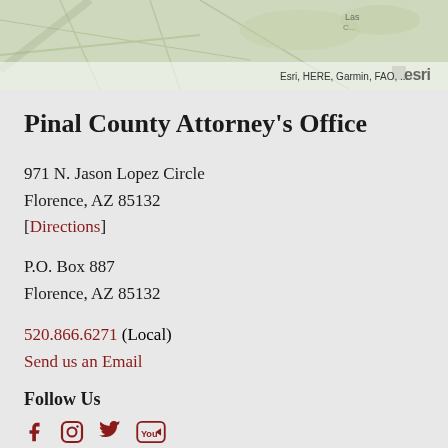[Figure (map): Partial map view showing geographic area near Florence, AZ with Esri, HERE, Garmin, FAO attribution and Esri logo watermark in bottom right]
Pinal County Attorney's Office
971 N. Jason Lopez Circle
Florence, AZ 85132
[Directions]
P.O. Box 887
Florence, AZ 85132
520.866.6271 (Local)
Send us an Email
Follow Us
[Figure (infographic): Social media icons: Facebook, Instagram, Twitter, YouTube — all in dark red color]